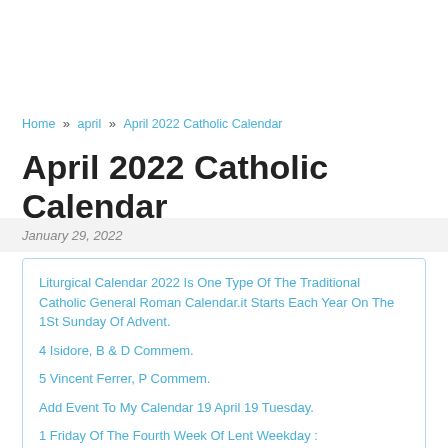Home » april » April 2022 Catholic Calendar
April 2022 Catholic Calendar
January 29, 2022
Liturgical Calendar 2022 Is One Type Of The Traditional Catholic General Roman Calendar.it Starts Each Year On The 1St Sunday Of Advent.
4 Isidore, B & D Commem.
5 Vincent Ferrer, P Commem.
Add Event To My Calendar 19 April 19 Tuesday.
1 Friday Of The Fourth Week Of Lent Weekday :